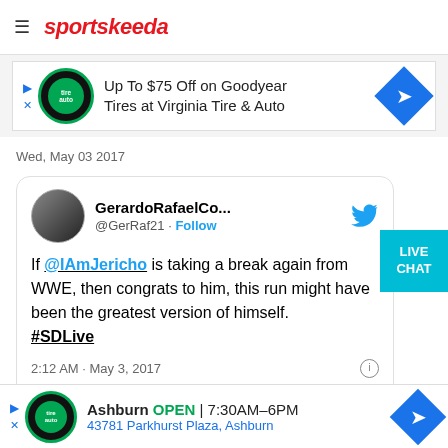sportskeeda
[Figure (screenshot): Advertisement banner: Up To $75 Off on Goodyear Tires at Virginia Tire & Auto]
Wed, May 03 2017
[Figure (screenshot): Tweet by GerardoRafaelCo... (@GerRaf21): If @IAmJericho is taking a break again from WWE, then congrats to him, this run might have been the greatest version of himself. #SDLive — 2:12 AM · May 3, 2017]
[Figure (screenshot): Advertisement banner: Ashburn OPEN 7:30AM-6PM, 43781 Parkhurst Plaza, Ashburn]